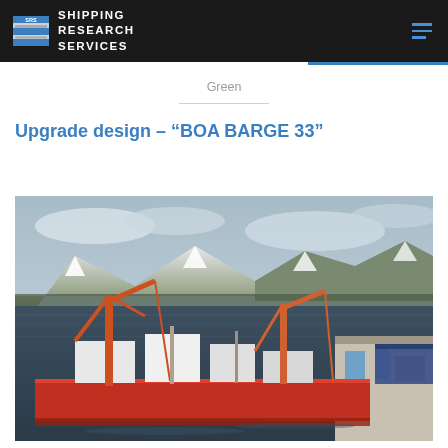SHIPPING RESEARCH SERVICES
Green
Upgrade design – “BOA BARGE 33”
[Figure (photo): Aerial view of BOA BARGE 33, a large red-hulled construction barge with orange cranes, moored at a dock in a fjord with snow-covered mountains in the background. Winter scene in Norway.]